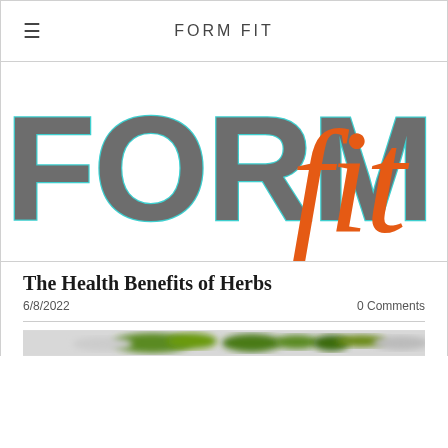FORM FIT
[Figure (logo): FORM fit logo — 'FORM' in large bold gray letters with teal outline, 'fit' in large orange italic script]
The Health Benefits of Herbs
6/8/2022    0 Comments
[Figure (photo): Partially visible blurred photo of herbs/greens, only a narrow horizontal strip visible at the bottom of the page]